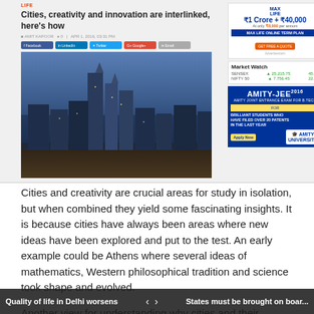[Figure (screenshot): Screenshot of a news article page showing 'Cities, creativity and innovation are interlinked, here's how' article with city skyline photo, share buttons, advertisements including Max Life Insurance and Amity-JEE, and a Market Watch widget]
Cities and creativity are crucial areas for study in isolation, but when combined they yield some fascinating insights. It is because cities have always been areas where new ideas have been explored and put to the test. An early example could be Athens where several ideas of mathematics, Western philosophical tradition and science took shape and evolved.
Another view for understanding why cities and their relationship to creativity are important is because of a utilitarian perspective. Bolstering this argument is that all the modern amenities that we take now take for granted like the computer, mobile phones, televisions, etc. were once just plain creative ideas. They were
Quality of life in Delhi worsens   ‹   ›   States must be brought on boar...